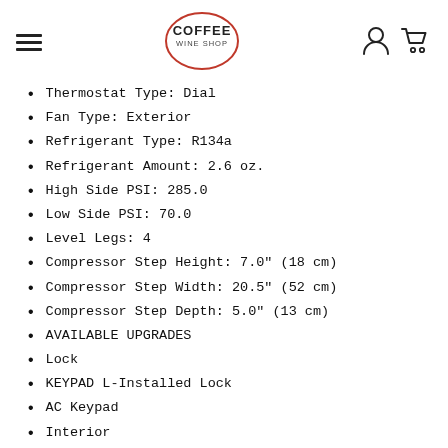COFFEE WINE SHOP
Thermostat Type: Dial
Fan Type: Exterior
Refrigerant Type: R134a
Refrigerant Amount: 2.6 oz.
High Side PSI: 285.0
Low Side PSI: 70.0
Level Legs: 4
Compressor Step Height: 7.0" (18 cm)
Compressor Step Width: 20.5" (52 cm)
Compressor Step Depth: 5.0" (13 cm)
AVAILABLE UPGRADES
Lock
KEYPAD L-Installed Lock
AC Keypad
Interior
FCGP internal fan with gel packs FC – Internal Fan
Exterior
TT – Installed thermometer PH – Probe Hole
Alarm SS Hinges